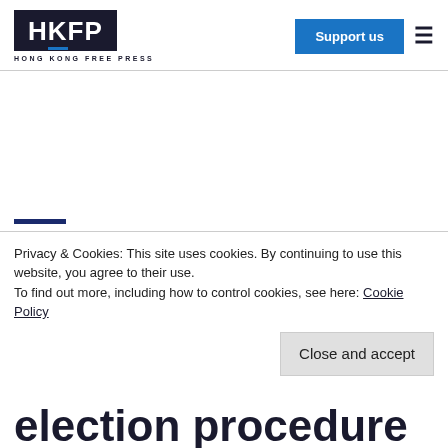HKFP - HONG KONG FREE PRESS
HONG KONG
election procedure
Privacy & Cookies: This site uses cookies. By continuing to use this website, you agree to their use. To find out more, including how to control cookies, see here: Cookie Policy
Close and accept